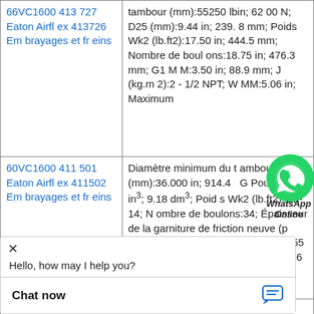| Part | Specifications |
| --- | --- |
| 66VC1600 413 727 Eaton Airflex 413726 Embrayages et freins | tambour (mm):55250 lbin; 6200 N; D25 (mm):9.44 in; 239.8 mm; Poids Wk2 (lb.ft2):17.50 in; 444.5 mm; Nombre de boulons:18.75 in; 476.3 mm; G1 MM:3.50 in; 88.9 mm; J (kg.m2):2 - 1/2 NPT; W MM:5.06 in; Maximum |
| 60VC1600 411 501 Eaton Airflex 411502 Embrayages et freins | Diamètre minimum du tambour (mm):36.000 in; 914.4 G Pouces:560 in³; 9.18 dm³; Poids Wk2 (lb.ft2):1/2-14; Nombre de boulons:34; Épaisseur de la garniture de friction neuve (po):0.50 in; 13 mm; Q(Deg) (m m):2.55 E-06 bar/rpm2;; H7 (in):34.50 in; 876 mm; W Largeur (mm):27.81 in; 706 mm; H7 Pouce:0.0 |
|  | 5 lb; 315 kg; Q(De |
[Figure (other): WhatsApp Online chat icon overlay with green WhatsApp logo and 'WhatsApp Online' label]
[Figure (other): Chat widget overlay with X close button, 'Hello, how may I help you?' message, and 'Chat now' button with chat icon]